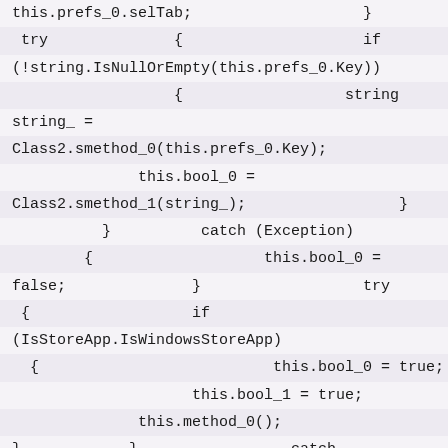this.prefs_0.selTab;                   }
try              {                    if
(!string.IsNullOrEmpty(this.prefs_0.Key))
{                  string
string_ =
Class2.smethod_0(this.prefs_0.Key);
this.bool_0 =
Class2.smethod_1(string_);                 }
}          catch (Exception)
{                   this.bool_0 =
false;              }                  try
{                  if
(IsStoreApp.IsWindowsStoreApp)
{                          this.bool_0 = true;
this.bool_1 = true;
this.method_0();
}            }                 catch